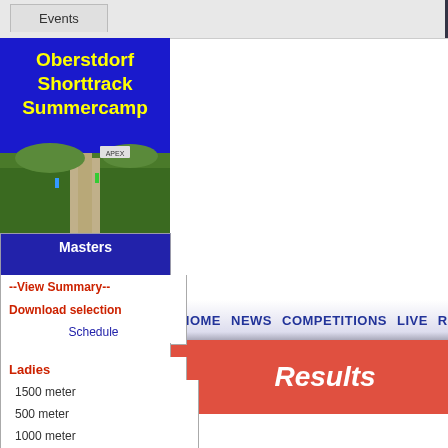Events
[Figure (photo): Oberstdorf Shorttrack Summercamp logo with text on blue background and photo of road/path through green landscape]
HOME  NEWS  COMPETITIONS  LIVE  RANKI...
Results
CUP VI...
Masters
--View Summary--
Download selection
Schedule
Ladies
1500 meter
500 meter
1000 meter
Overall Classification
Final 500 meter Lad...
| Finish | StartPos. | Nr. | Nam... |
| --- | --- | --- | --- |
| 1. | 1 | 91 | Liu... |
| 2. | 2 | 88 | Ol... |
| 3. | 3 | 78 | Ks... |
| 4. | 4 | 76 | An... |
Race 93, Group 2  (1...
Race 94, Group 1  (1...
| Finish | StartPos. | Nr. | Nam... |
| --- | --- | --- | --- |
| 1. | 1 | 87 | Da... |
| 2. | 2 | 72 | An... |
| 3. | 3 | 104 | Va... |